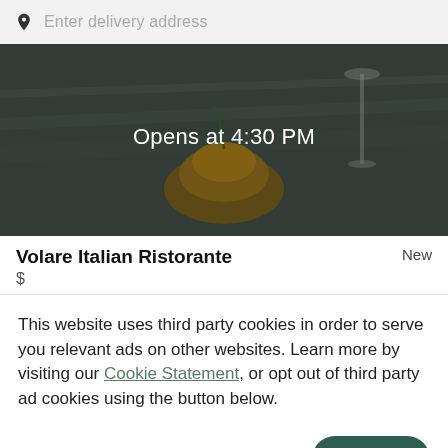[Figure (screenshot): Search bar with location pin icon and 'Enter delivery address' placeholder text on a light grey background]
[Figure (photo): Dark food restaurant banner image showing a dish, overlaid with text 'Opens at 4:30 PM' in white]
Volare Italian Ristorante    New
$
This website uses third party cookies in order to serve you relevant ads on other websites. Learn more by visiting our Cookie Statement, or opt out of third party ad cookies using the button below.
OPT OUT    GOT IT